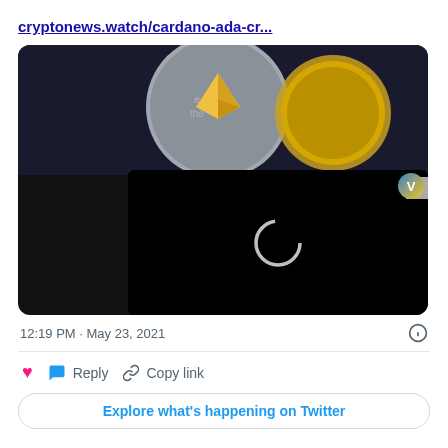cryptonews.watch/cardano-ada-cr...
[Figure (screenshot): A media card showing cryptocurrency coins (Ethereum and a gold coin) as a thumbnail in the upper portion, with a black video player overlay in the lower portion showing a loading spinner circle. A close button (x) appears on the right edge and a Venmo-style icon in the upper right of the video player.]
12:19 PM · May 23, 2021
Reply   Copy link
Explore what's happening on Twitter